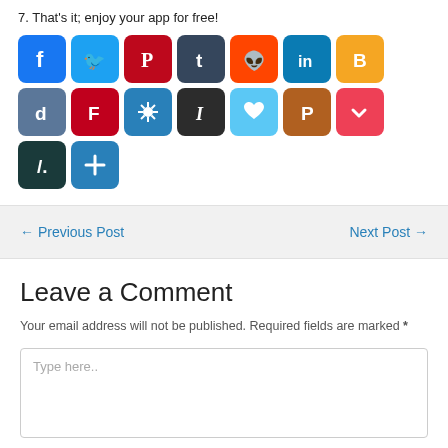7. That's it; enjoy your app for free!
[Figure (infographic): Two rows of social media sharing icons: Facebook, Twitter, Pinterest, Tumblr, Reddit, LinkedIn, Blogger, Dailymotion, Flipboard, virus/other, Instapaper, Wix, Pinterst-P, Pocket, Slashdot, plus/more]
← Previous Post   Next Post →
Leave a Comment
Your email address will not be published. Required fields are marked *
Type here..